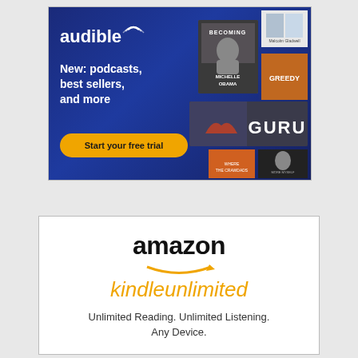[Figure (illustration): Audible advertisement banner with dark blue gradient background. Shows Audible logo, text 'New: podcasts, best sellers, and more', a yellow 'Start your free trial' button, and several book cover thumbnails including 'Becoming' by Michelle Obama and 'GURU'.]
[Figure (illustration): Amazon Kindle Unlimited advertisement. White background with 'amazon' logo in black, orange smile arrow, 'kindleunlimited' in orange italic text, and tagline 'Unlimited Reading. Unlimited Listening. Any Device.']